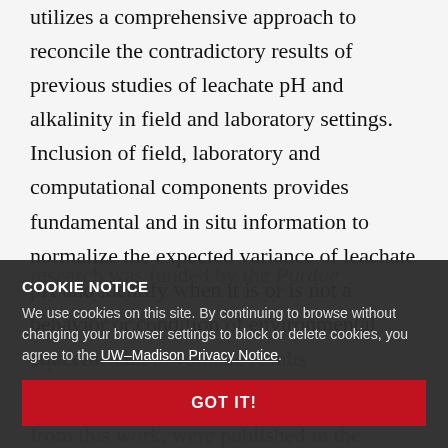utilizes a comprehensive approach to reconcile the contradictory results of previous studies of leachate pH and alkalinity in field and laboratory settings. Inclusion of field, laboratory and computational components provides fundamental and in situ information to normalize the expected variance of leachate pH and identify when it is or is not a behavior or condition of environmental concern. This [research was funded by the Purdue ...] [... The results from this work were published in the Journal of Materials Engineering.]
COOKIE NOTICE
We use cookies on this site. By continuing to browse without changing your browser settings to block or delete cookies, you agree to the UW–Madison Privacy Notice.